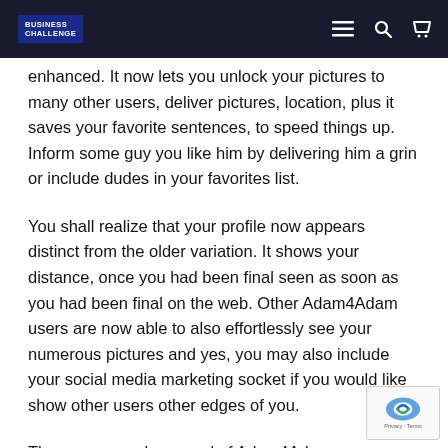BUSINESS CHALLENGE
enhanced. It now lets you unlock your pictures to many other users, deliver pictures, location, plus it saves your favorite sentences, to speed things up. Inform some guy you like him by delivering him a grin or include dudes in your favorites list.
You shall realize that your profile now appears distinct from the older variation. It shows your distance, once you had been final seen as soon as you had been final on the web. Other Adam4Adam users are now able to also effortlessly see your numerous pictures and yes, you may also include your social media marketing socket if you would like show other users other edges of you.
These are merely several of Adam4Adam RadarвЂ™s brand brand new, fresh features not to mention, you are able